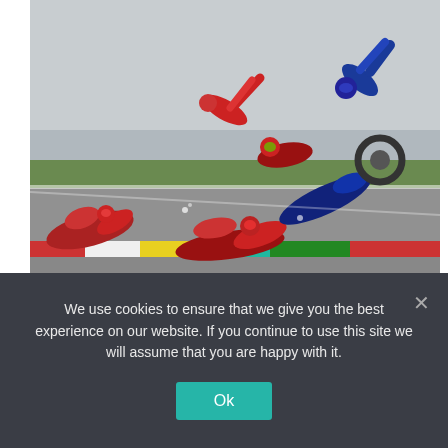[Figure (photo): MotoGP multi-bike crash on a racing circuit with colored kerbs (red, yellow, teal, green). Multiple riders and bikes are shown sliding/falling on the track surface. Some riders in red Ducati gear, one in blue Yamaha gear flying through the air.]
BIKE CHAOS
Horror crash as biker's helmet smashes into rival's t—t Catalan GP
We use cookies to ensure that we give you the best experience on our website. If you continue to use this site we will assume that you are happy with it.